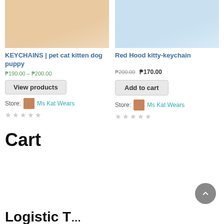[Figure (photo): Product image of cat/kitten/dog keychains with bells and red bow on beige background]
[Figure (photo): Product image of Red Hood kitty keychain on light blue background]
KEYCHAINS | pet cat kitten dog puppy
Red Hood kitty-keychain
₱190.00 – ₱200.00
₱200.00 ₱170.00
View products
Add to cart
Store:  Ms Kat Wears
Store:  Ms Kat Wears
★★★★★
★★★★★
Cart
Logistic T…